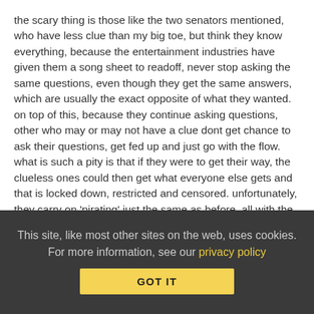the scary thing is those like the two senators mentioned, who have less clue than my big toe, but think they know everything, because the entertainment industries have given them a song sheet to readoff, never stop asking the same questions, even though they get the same answers, which are usually the exact opposite of what they wanted. on top of this, because they continue asking questions, other who may or may not have a clue dont get chance to ask their questions, get fed up and just go with the flow. what is such a pity is that if they were to get their way, the clueless ones could then get what everyone else gets and that is locked down, restricted and censored. unfortunately, they carry on 'pirating' just the same as before, all with the blessings of the industries. they also never have a clue of the damage they have done to progress and innovation, mainly because they dont have enough time to worry about those things, with so much of their time being taken up checking the 'encouragement' they received from the very ones they helped.
This site, like most other sites on the web, uses cookies. For more information, see our privacy policy
GOT IT